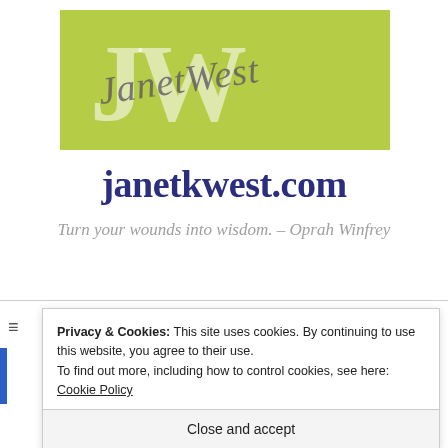[Figure (logo): JanetWest logo: green/yellow-green rectangular banner with large white 'JW' letters and a cursive 'JanetWest' script overlaid in gray-purple]
janetkwest.com
Turn your wounds into wisdom. – Oprah Winfrey
Privacy & Cookies: This site uses cookies. By continuing to use this website, you agree to their use.
To find out more, including how to control cookies, see here: Cookie Policy
Close and accept